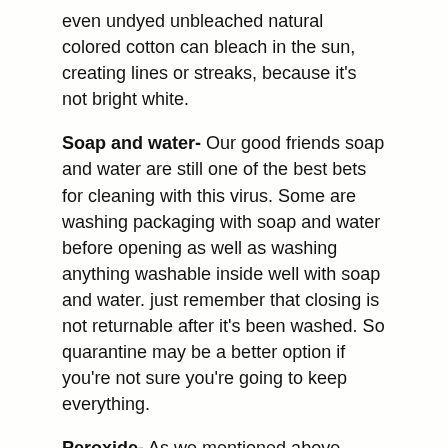even undyed unbleached natural colored cotton can bleach in the sun, creating lines or streaks, because it's not bright white.
Soap and water- Our good friends soap and water are still one of the best bets for cleaning with this virus. Some are washing packaging with soap and water before opening as well as washing anything washable inside well with soap and water. just remember that closing is not returnable after it's been washed. So quarantine may be a better option if you're not sure you're going to keep everything.
Peroxide- As we mentioned above, peroxide seems to be effective against this virus. Dilution amounts vary depending on what you're cleaning so do your homework before you use it.